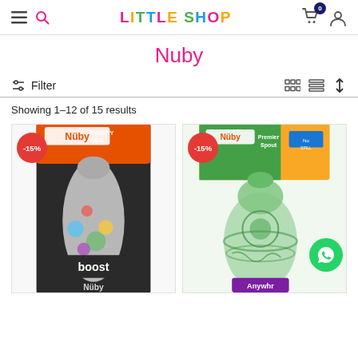Little Shop — navigation header with menu, search, logo, cart (0), user icon
Nuby
Filter
Showing 1–12 of 15 results
[Figure (photo): Nuby Thirsty Kids boost bottle product with -15% discount badge, white polka dot packaging]
[Figure (photo): Nuby Premier Spout sippy cup product with -15% discount badge and green tinted bottle, WhatsApp contact button overlay]